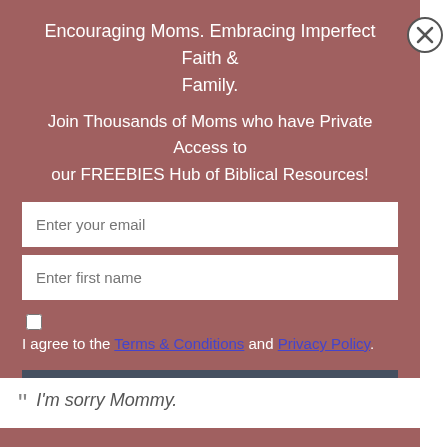Encouraging Moms. Embracing Imperfect Faith & Family.
Join Thousands of Moms who have Private Access to our FREEBIES Hub of Biblical Resources!
Enter your email
Enter first name
I agree to the Terms & Conditions and Privacy Policy.
Join Now!
“ I’m sorry Mommy.